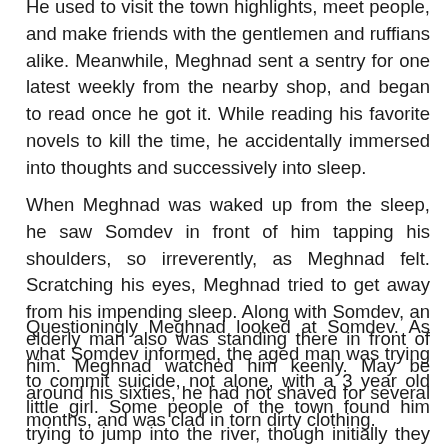He used to visit the town highlights, meet people, and make friends with the gentlemen and ruffians alike. Meanwhile, Meghnad sent a sentry for one latest weekly from the nearby shop, and began to read once he got it. While reading his favorite novels to kill the time, he accidentally immersed into thoughts and successively into sleep.
When Meghnad was waked up from the sleep, he saw Somdev in front of him tapping his shoulders, so irreverently, as Meghnad felt. Scratching his eyes, Meghnad tried to get away from his impending sleep. Along with Somdev, an elderly man also was standing there in front of him. Meghnad watched him keenly. May be around his sixties, he had not shaved for several months, and was clad in torn dirty clothing.
Questioningly Meghnad looked at Somdev. As what Somdev informed, the aged man was trying to commit suicide, not alone, with a 3 year old little girl. Some people of the town found him trying to jump into the river, though initially they did not suspect anything. But, when they understood what he was aiming at, they caught him, and rescued the girl who